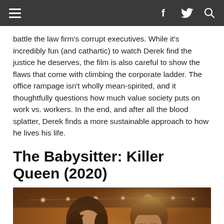Navigation bar with hamburger menu, Facebook, Twitter, and search icons
battle the law firm's corrupt executives. While it's incredibly fun (and cathartic) to watch Derek find the justice he deserves, the film is also careful to show the flaws that come with climbing the corporate ladder. The office rampage isn't wholly mean-spirited, and it thoughtfully questions how much value society puts on work vs. workers. In the end, and after all the blood splatter, Derek finds a more sustainable approach to how he lives his life.
The Babysitter: Killer Queen (2020)
[Figure (photo): Two young people in a dimly lit space with string lights in the background. A girl with dark messy hair in the foreground and a boy with glasses wearing a plaid shirt behind her.]